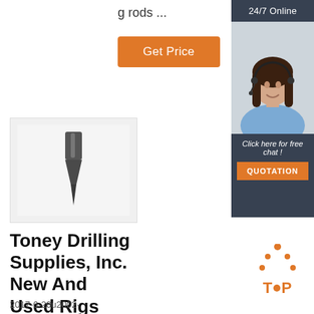g rods ...
[Figure (other): Orange 'Get Price' button]
[Figure (other): Advertisement sidebar: 24/7 Online support chat with woman wearing headset. Click here for free chat! QUOTATION button.]
[Figure (photo): Photo of a drilling bit/rod tool on white background]
Toney Drilling Supplies, Inc. New And Used Rigs
2017-6-20u2002·
[Figure (illustration): TOP icon with orange dots and text]